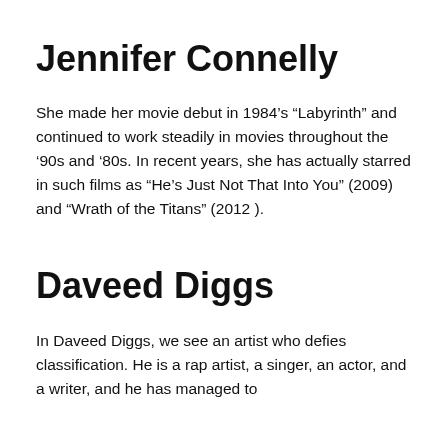Jennifer Connelly
She made her movie debut in 1984’s “Labyrinth” and continued to work steadily in movies throughout the ’90s and ‘80s. In recent years, she has actually starred in such films as “He’s Just Not That Into You” (2009) and “Wrath of the Titans” (2012 ).
Daveed Diggs
In Daveed Diggs, we see an artist who defies classification. He is a rap artist, a singer, an actor, and a writer, and he has managed to